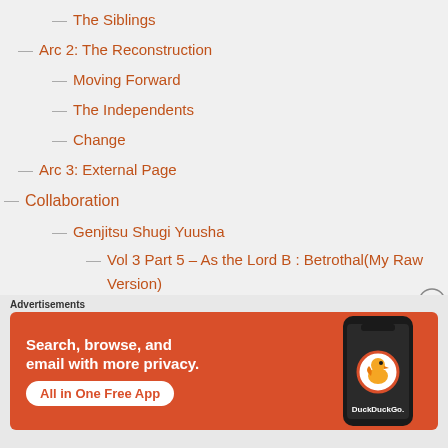The Siblings
Arc 2: The Reconstruction
Moving Forward
The Independents
Change
Arc 3: External Page
Collaboration
Genjitsu Shugi Yuusha
Vol 3 Part 5 – As the Lord B : Betrothal(My Raw Version)
Advertisements
[Figure (infographic): DuckDuckGo advertisement banner with orange background showing a phone and the text: Search, browse, and email with more privacy. All in One Free App. DuckDuckGo.]